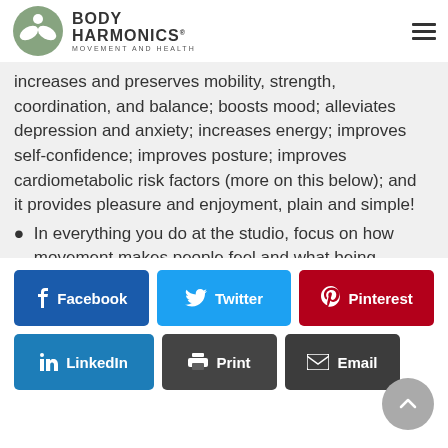Body Harmonics Movement and Health
increases and preserves mobility, strength, coordination, and balance; boosts mood; alleviates depression and anxiety; increases energy; improves self-confidence; improves posture; improves cardiometabolic risk factors (more on this below); and it provides pleasure and enjoyment, plain and simple!
In everything you do at the studio, focus on how movement makes people feel and what being physically active allows them to
Facebook  Twitter  Pinterest  LinkedIn  Print  Email